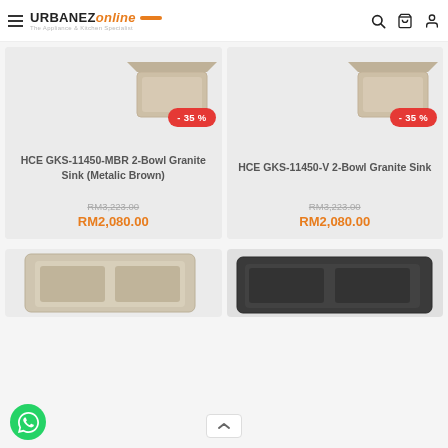URBANEZ online — The Appliance & Kitchen Specialist
[Figure (photo): Product card: HCE GKS-11450-MBR 2-Bowl Granite Sink (Metalic Brown) with -35% badge, original price RM3,223.00, sale price RM2,080.00]
[Figure (photo): Product card: HCE GKS-11450-V 2-Bowl Granite Sink with -35% badge, original price RM3,223.00, sale price RM2,080.00]
[Figure (photo): Partial product card bottom row left — granite sink in light beige color]
[Figure (photo): Partial product card bottom row right — granite sink in dark grey/black color]